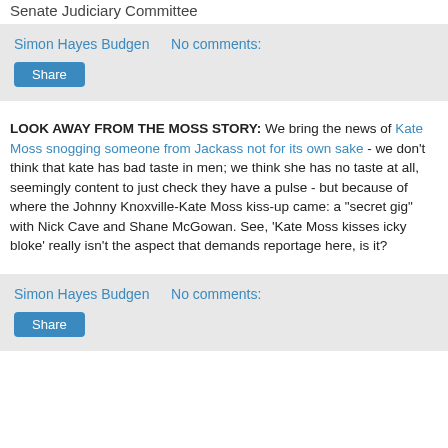Senate Judiciary Committee
Simon Hayes Budgen   No comments:
Share
LOOK AWAY FROM THE MOSS STORY: We bring the news of Kate Moss snogging someone from Jackass not for its own sake - we don't think that kate has bad taste in men; we think she has no taste at all, seemingly content to just check they have a pulse - but because of where the Johnny Knoxville-Kate Moss kiss-up came: a "secret gig" with Nick Cave and Shane McGowan. See, 'Kate Moss kisses icky bloke' really isn't the aspect that demands reportage here, is it?
Simon Hayes Budgen   No comments:
Share